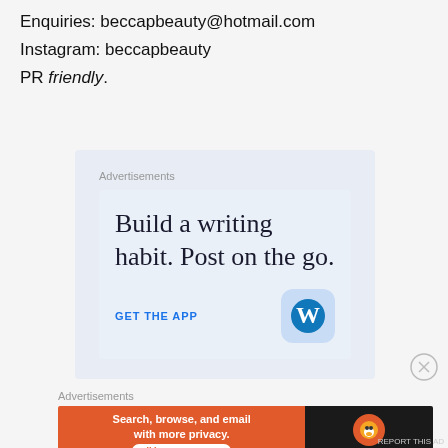Enquiries: beccapbeauty@hotmail.com
Instagram: beccapbeauty
PR friendly.
[Figure (other): WordPress advertisement: 'Build a writing habit. Post on the go.' with GET THE APP link and WordPress logo]
[Figure (other): DuckDuckGo advertisement: 'Search, browse, and email with more privacy. All in One Free App']